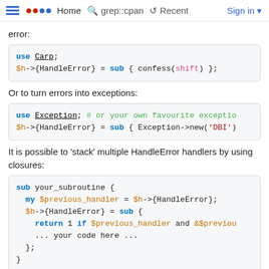≡ •• Home  🔍 grep::cpan  ↺ Recent  Sign in ▾
error:
use Carp;
$h->{HandleError} = sub { confess(shift) };
Or to turn errors into exceptions:
use Exception; # or your own favourite exceptio
$h->{HandleError} = sub { Exception->new('DBI')
It is possible to 'stack' multiple HandleError handlers by using closures:
sub your_subroutine {
  my $previous_handler = $h->{HandleError};
  $h->{HandleError} = sub {
    return 1 if $previous_handler and &$previou
    ... your code here ...
  };
}